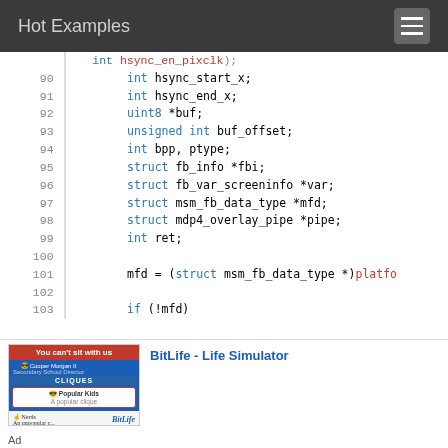Hot Examples
[Figure (screenshot): Source code viewer showing C struct definition with line numbers 89-103. Keywords like int, uint8, unsigned, struct are highlighted in blue. Line 101 shows: mfd = (struct msm_fb_data_type *)platfo (truncated). Line 103 shows: if (!mfd)]
[Figure (infographic): Advertisement for BitLife - Life Simulator app, showing 'You can't sit with us' banner with app screenshot and blue link text 'BitLife - Life Simulator']
Ad